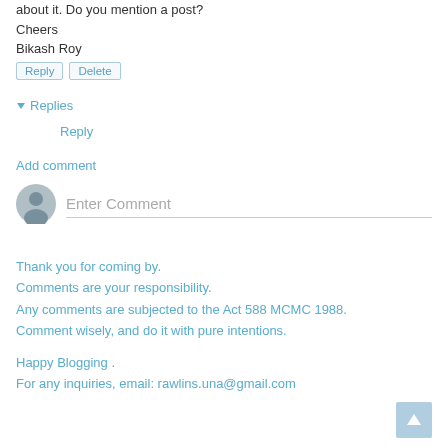about it. Do you mention a post?
Cheers
Bikash Roy
Reply  Delete
▾ Replies
Reply
Add comment
Enter Comment
Thank you for coming by.
Comments are your responsibility.
Any comments are subjected to the Act 588 MCMC 1988.
Comment wisely, and do it with pure intentions.
Happy Blogging .
For any inquiries, email: rawlins.una@gmail.com